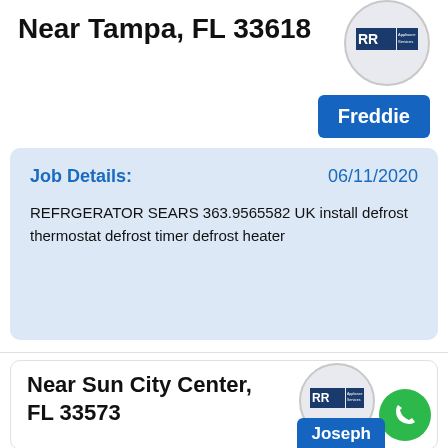Near Tampa, FL 33618
[Figure (logo): RR Appliance Services logo in circular avatar]
Freddie
Job Details:
06/11/2020
REFRGERATOR SEARS 363.9565582 UK install defrost thermostat defrost timer defrost heater
Near Sun City Center, FL 33573
[Figure (logo): RR Appliance Services logo in circular avatar with green phone button]
Joseph